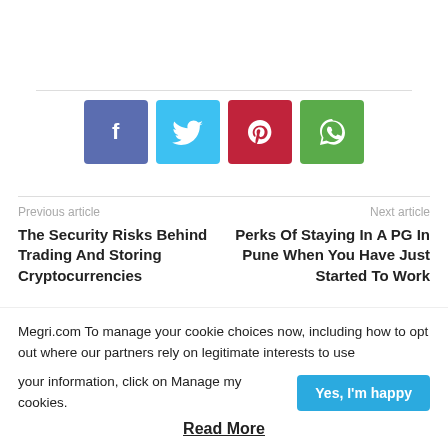[Figure (other): Social share buttons: Facebook (blue-purple), Twitter (light blue), Pinterest (red), WhatsApp (green)]
Previous article
The Security Risks Behind Trading And Storing Cryptocurrencies
Next article
Perks Of Staying In A PG In Pune When You Have Just Started To Work
Megri.com To manage your cookie choices now, including how to opt out where our partners rely on legitimate interests to use your information, click on Manage my cookies.
Yes, I'm happy
Read More